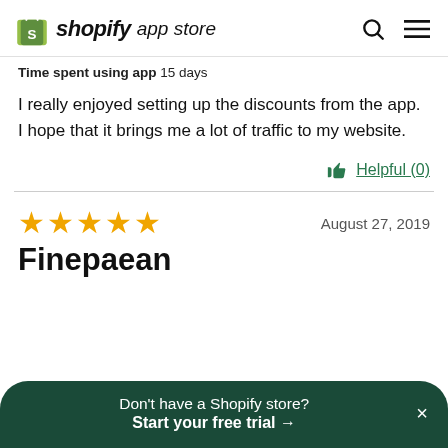shopify app store
Time spent using app  15 days
I really enjoyed setting up the discounts from the app. I hope that it brings me a lot of traffic to my website.
Helpful (0)
★★★★★  August 27, 2019
Finepaean
Don't have a Shopify store? Start your free trial →